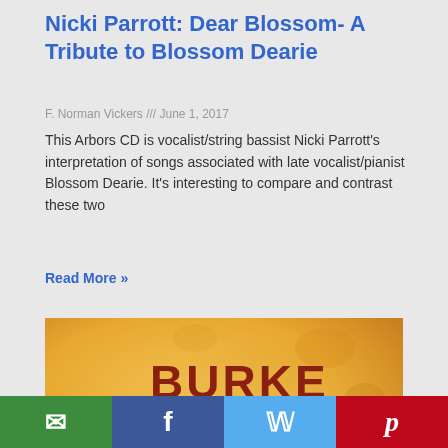Nicki Parrott: Dear Blossom- A Tribute to Blossom Dearie
F. Norman Vickers /// June 1, 2017
This Arbors CD is vocalist/string bassist Nicki Parrott’s interpretation of songs associated with late vocalist/pianist Blossom Dearie. It’s interesting to compare and contrast these two
Read More »
[Figure (photo): Album cover art for 'Burke Beautiful' featuring dark cursive and bold lettering on a golden/orange textured watercolor background]
[Figure (infographic): Social sharing bar with email (green), Facebook (blue), Twitter (light blue), and Pinterest (red) buttons]